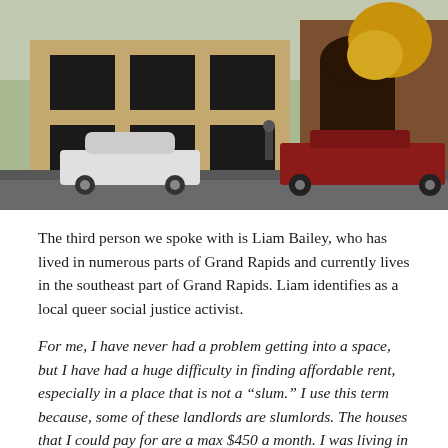[Figure (photo): Exterior photo of brick commercial/institutional buildings with a white sedan and a red pickup truck parked in front, yellow autumn trees visible in the background.]
The third person we spoke with is Liam Bailey, who has lived in numerous parts of Grand Rapids and currently lives in the southeast part of Grand Rapids. Liam identifies as a local queer social justice activist.
For me, I have never had a problem getting into a space, but I have had a huge difficulty in finding affordable rent, especially in a place that is not a “slum.” I use this term because, some of these landlords are slumlords. The houses that I could pay for are a max $450 a month. I was living in a place near downtown that was $450, but it was in a basement level, which had the furnace in it, which